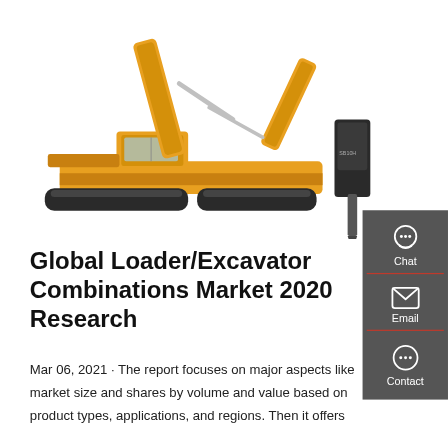[Figure (photo): Yellow hydraulic excavator with a hydraulic breaker attachment, shown in profile on a white background. Brand markings visible on the arm.]
Global Loader/Excavator Combinations Market 2020 Research
Mar 06, 2021 · The report focuses on major aspects like market size and shares by volume and value based on product types, applications, and regions. Then it offers